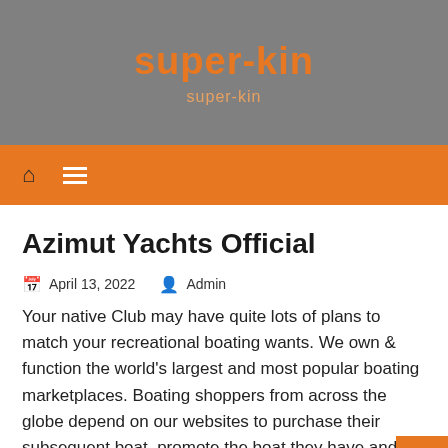super-kin
super-kin
Azimut Yachts Official
April 13, 2022   Admin
Your native Club may have quite lots of plans to match your recreational boating wants. We own & function the world's largest and most popular boating marketplaces. Boating shoppers from across the globe depend on our websites to purchase their subsequent boat, promote the boat they have and discover the